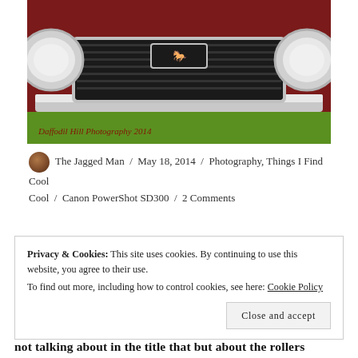[Figure (photo): Close-up front view of a classic red Ford Mustang with chrome grille and running horse emblem, parked on green grass. Watermark reads 'Daffodil Hill Photography 2014']
The Jagged Man / May 18, 2014 / Photography, Things I Find Cool / Canon PowerShot SD300 / 2 Comments
Privacy & Cookies: This site uses cookies. By continuing to use this website, you agree to their use.
To find out more, including how to control cookies, see here: Cookie Policy
Close and accept
not talking about in the title that but about the rollers